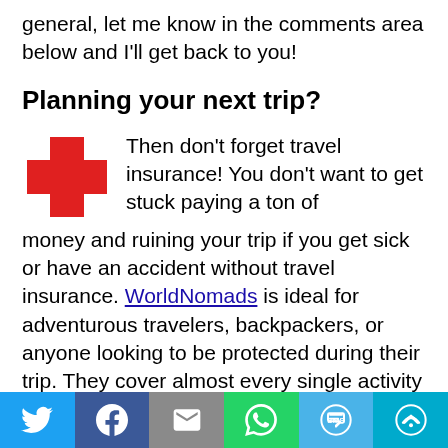general, let me know in the comments area below and I'll get back to you!
Planning your next trip?
Then don't forget travel insurance! You don't want to get stuck paying a ton of money and ruining your trip if you get sick or have an accident without travel insurance. WorldNomads is ideal for adventurous travelers, backpackers, or anyone looking to be protected during their trip. They cover almost every single activity you can image!
[Figure (infographic): Social sharing bar with icons for Twitter, Facebook, Email, WhatsApp, SMS, and More]